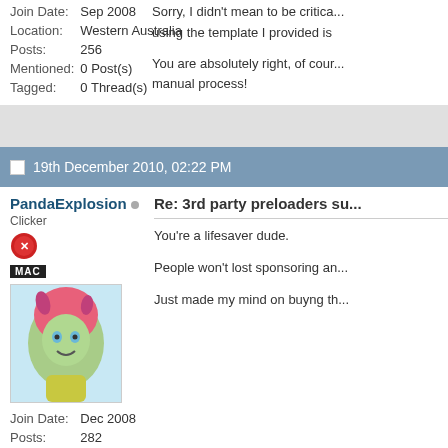| Join Date: | Sep 2008 |
| Location: | Western Australia |
| Posts: | 256 |
| Mentioned: | 0 Post(s) |
| Tagged: | 0 Thread(s) |
Sorry, I didn't mean to be critica... using the template I provided is

You are absolutely right, of cour... manual process!
19th December 2010, 02:22 PM
PandaExplosion
Clicker
| Join Date: | Dec 2008 |
| Posts: | 282 |
| Mentioned: | 0 Post(s) |
| Tagged: | 0 Thread(s) |
Re: 3rd party preloaders su...
You're a lifesaver dude.

People won't lost sponsoring an...

Just made my mind on buyng th...